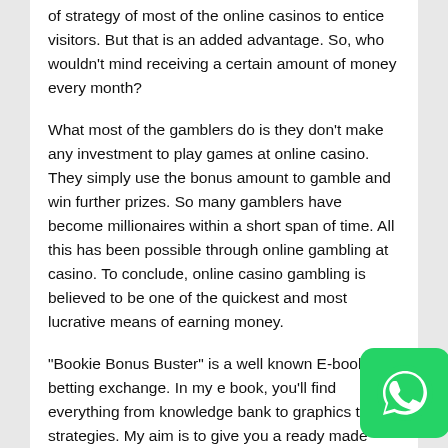of strategy of most of the online casinos to entice visitors. But that is an added advantage. So, who wouldn't mind receiving a certain amount of money every month?
What most of the gamblers do is they don't make any investment to play games at online casino. They simply use the bonus amount to gamble and win further prizes. So many gamblers have become millionaires within a short span of time. All this has been possible through online gambling at casino. To conclude, online casino gambling is believed to be one of the quickest and most lucrative means of earning money.
“Bookie Bonus Buster” is a well known E-book on betting exchange. In my e book, you’ll find everything from knowledge bank to graphics to strategies. My aim is to give you a ready made thing that you need to just hold in your hands and start reaping its benefits. There is comprehensive material on how to strategically place bets and back the team to win. So, all you people out there, subscribe to our book and effectively perform the task of betting.
[Figure (logo): WhatsApp logo icon, green rounded square with white phone handset icon]